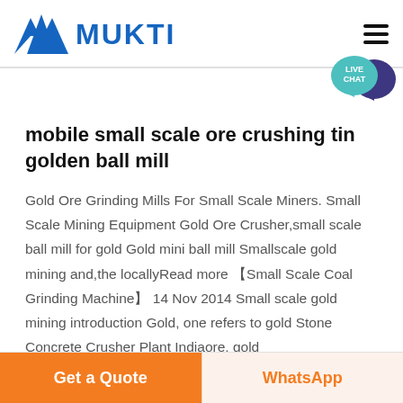MUKTI
mobile small scale ore crushing tin golden ball mill
Gold Ore Grinding Mills For Small Scale Miners. Small Scale Mining Equipment Gold Ore Crusher,small scale ball mill for gold Gold mini ball mill Smallscale gold mining and,the locallyRead more 【Small Scale Coal Grinding Machine】 14 Nov 2014 Small scale gold mining introduction Gold, one refers to gold Stone Concrete Crusher Plant Indiaore, gold